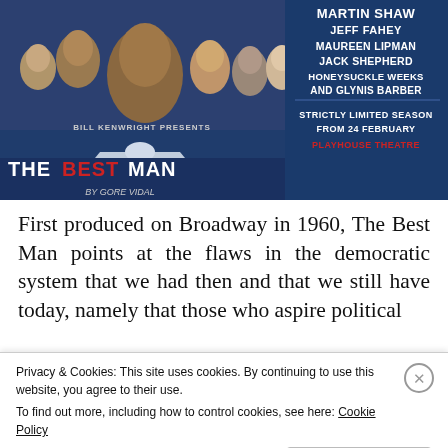[Figure (illustration): Theatre promotional poster for 'The Best Man' by Gore Vidal, Bill Kenwright presents. Features cast photos of Martin Shaw, Jeff Fahey, Maureen Lipman, Jack Shepherd, Honeysuckle Weeks and Glynis Barber on a dark blue background with White House imagery. Strictly Limited Season from 24 February, Playhouse Theatre.]
First produced on Broadway in 1960, The Best Man points at the flaws in the democratic system that we had then and that we still have today, namely that those who aspire political
Privacy & Cookies: This site uses cookies. By continuing to use this website, you agree to their use.
To find out more, including how to control cookies, see here: Cookie Policy
Close and accept